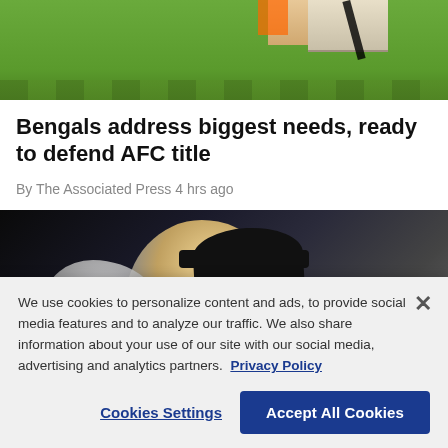[Figure (photo): Top cropped sports photo showing green grass field with partial view of players' legs]
Bengals address biggest needs, ready to defend AFC title
By The Associated Press 4 hrs ago
[Figure (photo): Photo of a man wearing a black cap, appears to be a coach or official, dark background]
We use cookies to personalize content and ads, to provide social media features and to analyze our traffic. We also share information about your use of our site with our social media, advertising and analytics partners. Privacy Policy
Cookies Settings | Accept All Cookies